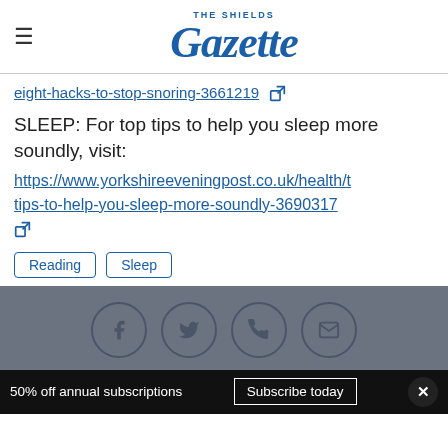THE SHIELDS Gazette
eight-hacks-to-stop-snoring-3661219 [external link icon]
SLEEP: For top tips to help you sleep more soundly, visit: https://www.yorkshireeveningpost.co.uk/health/t tips-to-help-you-sleep-more-soundly-3690317 [external link icon]
Reading
Sleep
[Figure (infographic): Gray footer bar with four social media icon circles: Facebook, Twitter, Phone/WhatsApp, Email]
50% off annual subscriptions   Subscribe today   ×